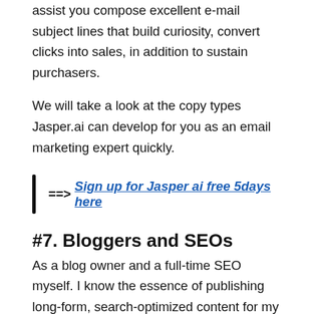assist you compose excellent e-mail subject lines that build curiosity, convert clicks into sales, in addition to sustain purchasers.
We will take a look at the copy types Jasper.ai can develop for you as an email marketing expert quickly.
==> Sign up for Jasper ai free 5days here
#7. Bloggers and SEOs
As a blog owner and a full-time SEO myself. I know the essence of publishing long-form, search-optimized content for my business.
Google likes text-rich (helpful) content, this is where